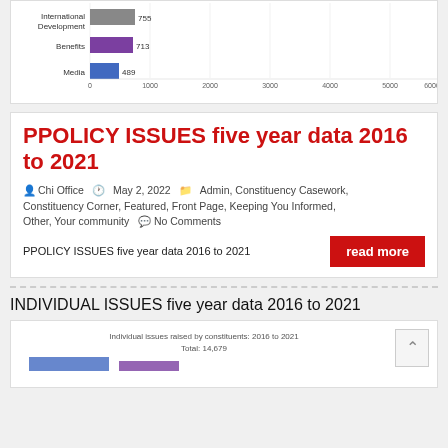[Figure (bar-chart): Policy issues by category]
PPOLICY ISSUES five year data 2016 to 2021
Chi Office  |  May 2, 2022  |  Admin, Constituency Casework, Constituency Corner, Featured, Front Page, Keeping You Informed, Other, Your community  |  No Comments
PPOLICY ISSUES five year data 2016 to 2021
INDIVIDUAL ISSUES five year data 2016 to 2021
[Figure (bar-chart): Partial bar chart visible at bottom of page]